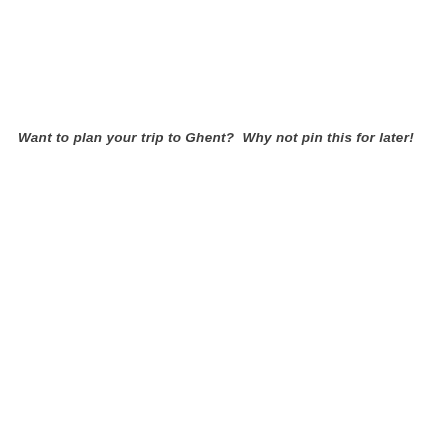Want to plan your trip to Ghent?  Why not pin this for later!